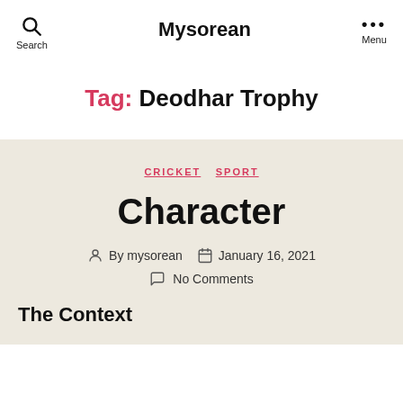Search  Mysorean  Menu
Tag: Deodhar Trophy
CRICKET  SPORT
Character
By mysorean  January 16, 2021  No Comments
The Context